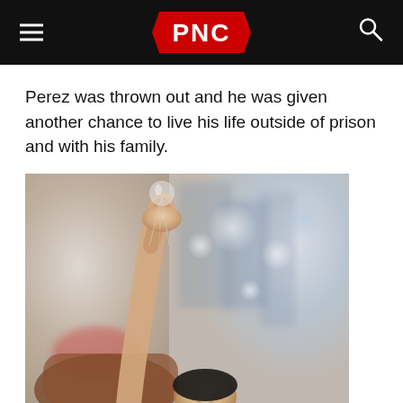PNC
Perez was thrown out and he was given another chance to live his life outside of prison and with his family.
[Figure (photo): A person's hand holding up a small glass ball or marble on a string, with a blurred crowd/city background. A smiling person is partially visible at the bottom of the frame.]